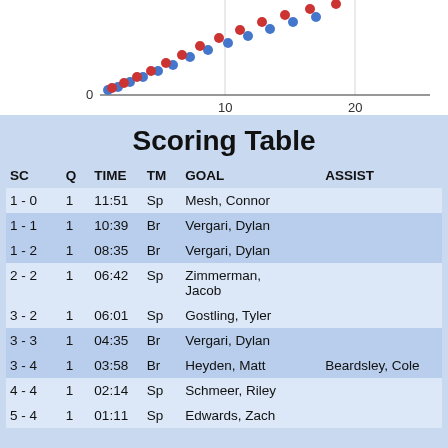[Figure (scatter-plot): Partial scatter plot showing two series (red and blue dots) rising from lower-left, with x-axis labeled 0, 10, 20 and y-axis visible at top of page]
Scoring Table
| SC | Q | TIME | TM | GOAL | ASSIST |
| --- | --- | --- | --- | --- | --- |
| 1 - 0 | 1 | 11:51 | Sp | Mesh, Connor |  |
| 1 - 1 | 1 | 10:39 | Br | Vergari, Dylan |  |
| 1 - 2 | 1 | 08:35 | Br | Vergari, Dylan |  |
| 2 - 2 | 1 | 06:42 | Sp | Zimmerman, Jacob |  |
| 3 - 2 | 1 | 06:01 | Sp | Gostling, Tyler |  |
| 3 - 3 | 1 | 04:35 | Br | Vergari, Dylan |  |
| 3 - 4 | 1 | 03:58 | Br | Heyden, Matt | Beardsley, Cole |
| 4 - 4 | 1 | 02:14 | Sp | Schmeer, Riley |  |
| 5 - 4 | 1 | 01:11 | Sp | Edwards, Zach |  |